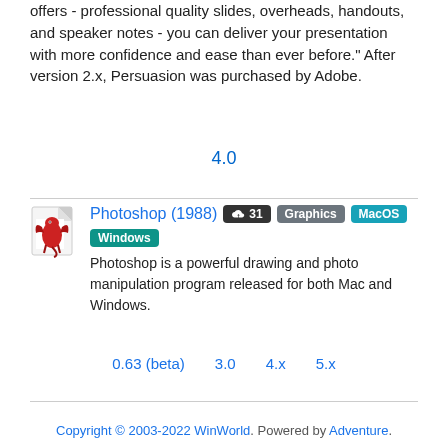offers - professional quality slides, overheads, handouts, and speaker notes - you can deliver your presentation with more confidence and ease than ever before." After version 2.x, Persuasion was purchased by Adobe.
4.0
Photoshop (1988)  [cloud icon] 31  Graphics  MacOS  Windows
Photoshop is a powerful drawing and photo manipulation program released for both Mac and Windows.
0.63 (beta)   3.0   4.x   5.x
Copyright © 2003-2022 WinWorld. Powered by Adventure.